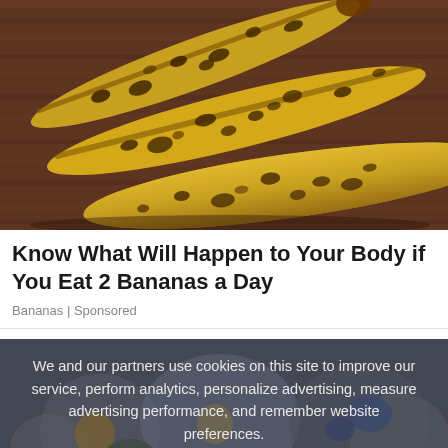[Figure (photo): Three overripe bananas with heavy brown/black spots lying on a dark wood surface]
Know What Will Happen to Your Body if You Eat 2 Bananas a Day
Bananas | Sponsored
[Figure (photo): Blurred photo of people exercising, overlaid with a semi-transparent dark banner containing a cookie consent message]
We and our partners use cookies on this site to improve our service, perform analytics, personalize advertising, measure advertising performance, and remember website preferences.